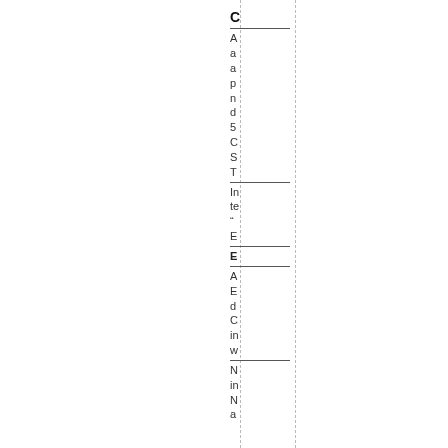C
A
a
a
p
n
d
5
C
S
T
In
te
"
E
E
A
E
d
C
in
w
N
in
N
a